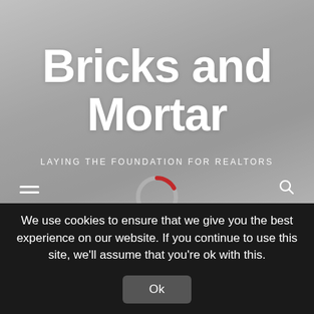[Figure (screenshot): Website hero section with blurred aerial landscape background, loading spinner overlay, hamburger menu icon bottom-left, search icon bottom-right]
Bricks and Mortar
LAYING THE FOUNDATION FOR REALTORS
We use cookies to ensure that we give you the best experience on our website. If you continue to use this site, we'll assume that you're ok with this.
Ok